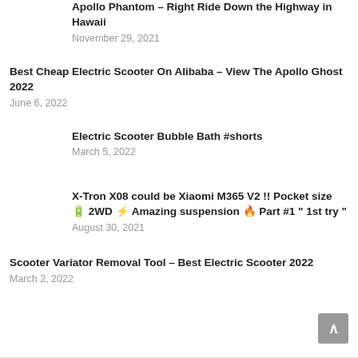Apollo Phantom – Right Ride Down the Highway in Hawaii
November 29, 2021
Best Cheap Electric Scooter On Alibaba – View The Apollo Ghost 2022
June 6, 2022
Electric Scooter Bubble Bath #shorts
March 5, 2022
X-Tron X08 could be Xiaomi M365 V2 !! Pocket size 🔋 2WD ⚡ Amazing suspension 🔥 Part #1 " 1st try "
August 30, 2021
Scooter Variator Removal Tool – Best Electric Scooter 2022
March 2, 2022